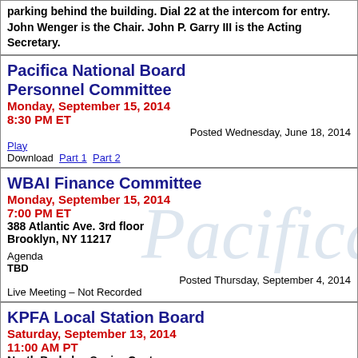parking behind the building. Dial 22 at the intercom for entry. John Wenger is the Chair. John P. Garry III is the Acting Secretary.
Pacifica National Board Personnel Committee
Monday, September 15, 2014
8:30 PM ET
Posted Wednesday, June 18, 2014
Play
Download  Part 1  Part 2
WBAI Finance Committee
Monday, September 15, 2014
7:00 PM ET
388 Atlantic Ave. 3rd floor
Brooklyn, NY 11217
Agenda
TBD
Posted Thursday, September 4, 2014
Live Meeting – Not Recorded
KPFA Local Station Board
Saturday, September 13, 2014
11:00 AM PT
North Berkeley Senior Center
1901 Hearst Ave.
Berkeley
Posted Thursday, September 4, 2014
Play
Download  Part 1  Part 2